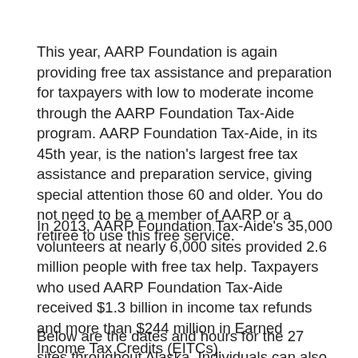This year, AARP Foundation is again providing free tax assistance and preparation for taxpayers with low to moderate income through the AARP Foundation Tax-Aide program. AARP Foundation Tax-Aide, in its 45th year, is the nation's largest free tax assistance and preparation service, giving special attention those 60 and older. You do not need to be a member of AARP or a retiree to use this free service.
In 2013, AARP Foundation Tax-Aide's 35,000 volunteers at nearly 6,000 sites provided 2.6 million people with free tax help. Taxpayers who used AARP Foundation Tax-Aide received $1.3 billion in income tax refunds and more than $244 million in Earned Income Tax Credits (EITCs).
Below are the dates and hours for the 27 sites throughout Alaska. Individuals can also visit